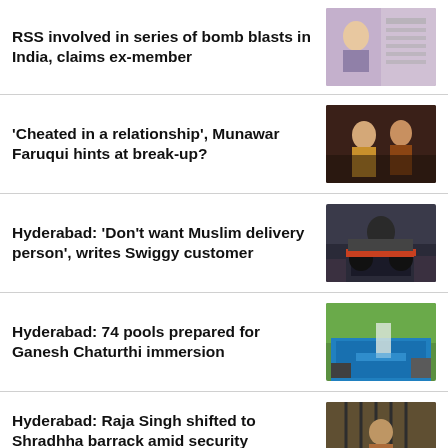RSS involved in series of bomb blasts in India, claims ex-member
[Figure (photo): Portrait photo of a person in purple shirt against document/text background]
'Cheated in a relationship', Munawar Faruqui hints at break-up?
[Figure (photo): Couple photo, man in brown jacket and woman in traditional attire]
Hyderabad: 'Don't want Muslim delivery person', writes Swiggy customer
[Figure (photo): Delivery person on a motorcycle wearing helmet and gloves]
Hyderabad: 74 pools prepared for Ganesh Chaturthi immersion
[Figure (photo): Blue pool/water tank being set up outdoors with workers]
Hyderabad: Raja Singh shifted to Shradhha barrack amid security concerns
[Figure (photo): Person behind bars/cage-like structure]
Hyderabad: Swiggy responds after customer's demand triggers outrage
[Figure (photo): Delivery person on motorcycle in Swiggy uniform]